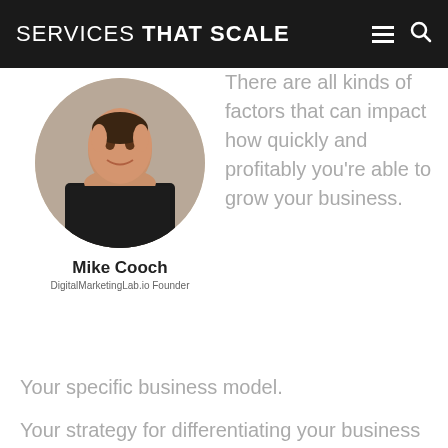SERVICES THAT SCALE
[Figure (photo): Circular profile photo of Mike Cooch, a middle-aged man with dark hair, smiling, wearing a black shirt, with a blurred restaurant background.]
Mike Cooch
DigitalMarketingLab.io Founder
There are all kinds of factors that can impact how quickly and profitably you're able to grow your business.
Your specific business model.
Your strategy for differentiating your business versus the competition.